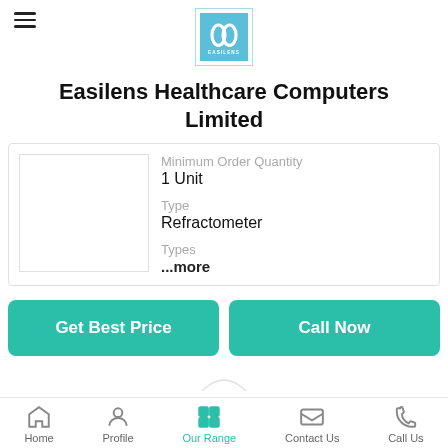[Figure (logo): Easilens logo - teal/cyan square logo with two oval shapes]
Easilens Healthcare Computers Limited
| Field | Value |
| --- | --- |
| Minimum Order Quantity | 1 Unit |
| Type | Refractometer |
| Types | ...more |
Get Best Price
Call Now
Home | Profile | Our Range | Contact Us | Call Us